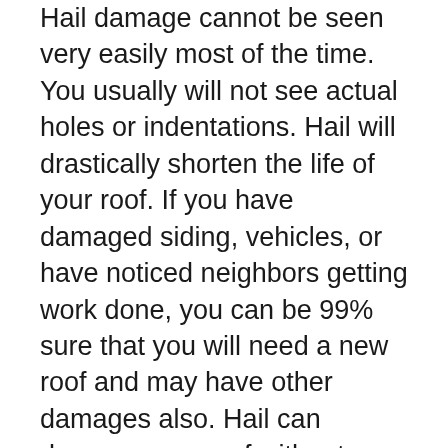Hail damage cannot be seen very easily most of the time. You usually will not see actual holes or indentations. Hail will drastically shorten the life of your roof. If you have damaged siding, vehicles, or have noticed neighbors getting work done, you can be 99% sure that you will need a new roof and may have other damages also. Hail can damage your roof without any visible signs from the ground. Hail normally has to be the size of a golf ball before it will break through your roof or cause bruising. Sometimes these damages do not show up quickly or are easily overlooked. The integrity of the shingle may be damaged, do not take a chance on it. If hail is driven by high winds or if it lasts longer than a few minutes, even small-sized hail can cause your roof to suffer severe damage and the loss of their protective granules, which will GREATLY reduce the life of your roof.